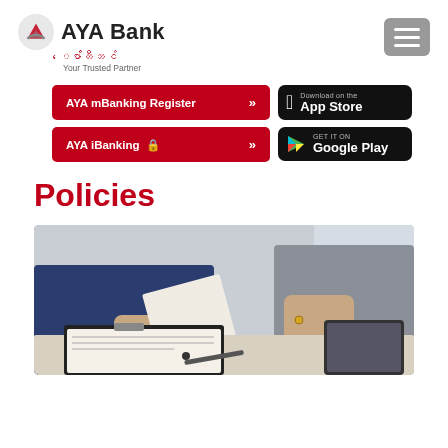[Figure (logo): AYA Bank logo with red mountain/chevron icon, text 'AYA Bank', Myanmar script subtitle, and tagline 'Your Trusted Partner']
[Figure (other): Hamburger menu button (three white lines on grey rounded rectangle)]
[Figure (other): Red button: AYA mBanking Register with double chevron arrows]
[Figure (other): Black App Store download button with Apple logo]
[Figure (other): Red button: AYA iBanking with lock icon and double chevron arrows]
[Figure (other): Black Google Play download button with Play logo]
Policies
[Figure (photo): Photo of two business people at a table reviewing documents and a clipboard, one wearing a blue suit, the other a grey jacket]